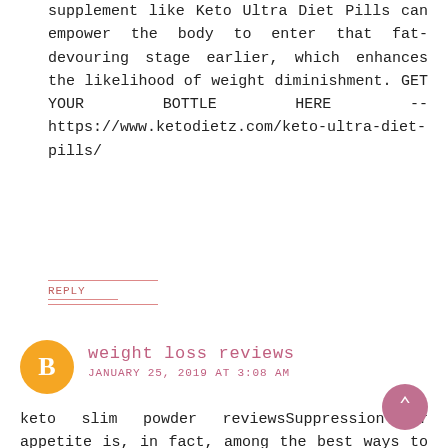supplement like Keto Ultra Diet Pills can empower the body to enter that fat-devouring stage earlier, which enhances the likelihood of weight diminishment. GET YOUR BOTTLE HERE -- https://www.ketodietz.com/keto-ultra-diet-pills/
REPLY
weight loss reviews
JANUARY 25, 2019 AT 3:08 AM
keto slim powder reviewsSuppression of appetite is, in fact, among the best ways to limit excessive food intake, and thus, reducing body fat mass. for any ketosis to happen, you must have sufficient keto s in your system. keto slim plus https://www.smore.com/39qfa-keto-slim-reviews-